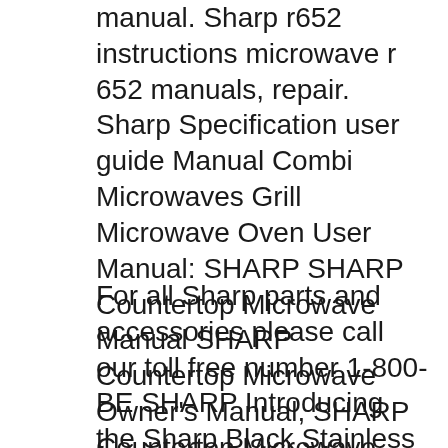manual. Sharp r652 instructions microwave r 652 manuals, repair. Sharp Specification user guide Manual Combi Microwaves Grill Microwave Oven User Manual: SHARP SHARP Countertop Microwave Manual SHARP Countertop Microwave Owner's Manual, SHARP Countertop Microwave installation guides
For all Sharp parts and accessories please call our toll free number 1-800-BE SHARP Introducing the Sharp Black Stainless Steel Microwave Drawer TM USER-FRIENDLY FEATURES MAKE COOKING AND CLEANING EASY Explore. NATURALLY ADVANCED TECHNOLOGY FOR TRULY CLEAN AIR Explore. Close